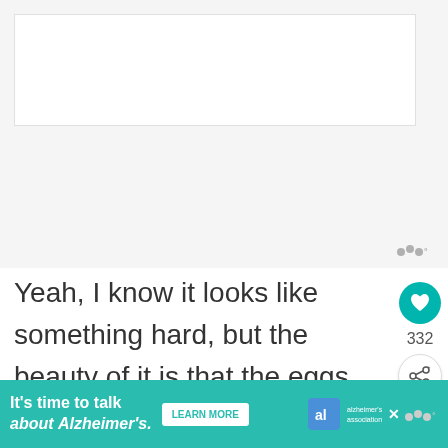[Figure (other): White rectangle placeholder image area at top of page, with inner white box outline, suggesting a content image. Small Wattpad logo watermark at bottom right of image area.]
Yeah, I know it looks like something hard, but the beauty of it is that the eggs and heat from your oven create
[Figure (infographic): Bottom banner advertisement: teal/turquoise background. Text: "It's time to talk about Alzheimer's." with a LEARN MORE button, Alzheimer's Association logo, close X button, and Wattpad logo watermark on right.]